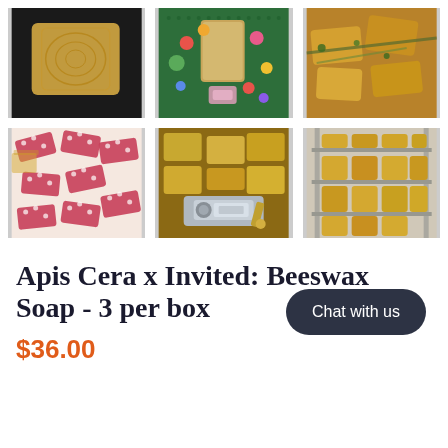[Figure (photo): 6-photo grid showing beeswax soap products: engraved soap bar, colorful candy-like soaps in box, golden soap bars with herbs, pink polka-dot wrapped soaps scattered, soap bars being cut by machine, soap bars on metal drying rack]
Apis Cera x Invited: Beeswax Soap - 3 per box
$36.00
Chat with us